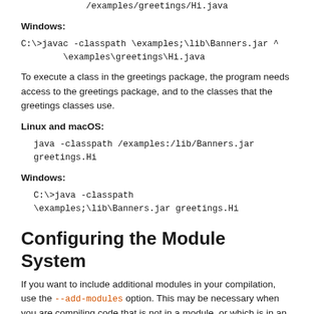/examples/greetings/Hi.java
Windows:
C:\>javac -classpath \examples;\lib\Banners.jar ^
        \examples\greetings\Hi.java
To execute a class in the greetings package, the program needs access to the greetings package, and to the classes that the greetings classes use.
Linux and macOS:
java -classpath /examples:/lib/Banners.jar greetings.Hi
Windows:
C:\>java -classpath
\examples;\lib\Banners.jar greetings.Hi
Configuring the Module System
If you want to include additional modules in your compilation, use the --add-modules option. This may be necessary when you are compiling code that is not in a module, or which is in an automatic module, and the code